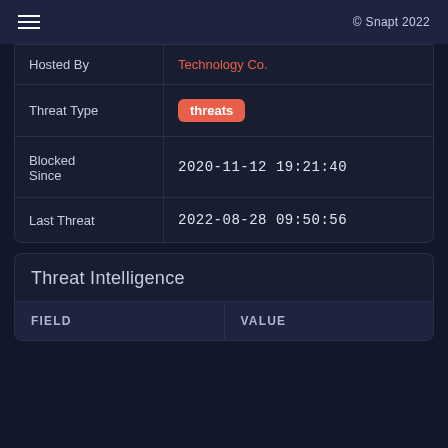≡  © Snapt 2022
| Field | Value |
| --- | --- |
| Hosted By | Technology Co. |
| Threat Type | threats |
| Blocked Since | 2020-11-12 19:21:40 |
| Last Threat | 2022-08-28 09:50:56 |
Threat Intelligence
| FIELD | VALUE |
| --- | --- |